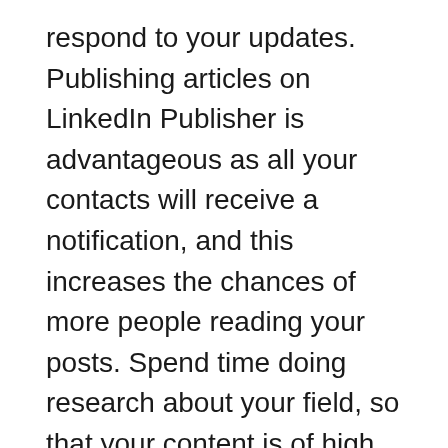respond to your updates. Publishing articles on LinkedIn Publisher is advantageous as all your contacts will receive a notification, and this increases the chances of more people reading your posts. Spend time doing research about your field, so that your content is of high value. LinkedIn promotes all content through Pulse. If your article receives a lot of shares and views, it could get included on LinkedIn recommended content which will get read by many people outside your contacts. Publish at least one unique article every month, but more if possible. Use the frequency that works best for you.